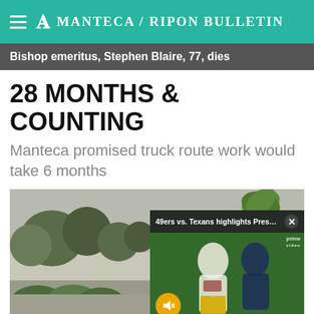Manteca / Ripon Bulletin
Bishop emeritus, Stephen Blaire, 77, dies
28 MONTHS & COUNTING
Manteca promised truck route work would take 6 months
[Figure (photo): Street scene with a white semi-truck driving past trees and hedges, with a video overlay showing a 49ers vs Texans NFL preseason highlights broadcast]
49ers vs. Texans highlights Preseason ...